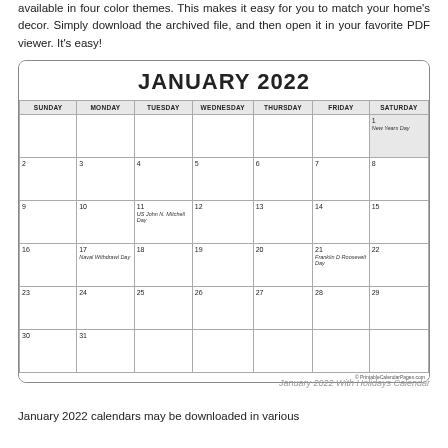available in four color themes. This makes it easy for you to match your home's decor. Simply download the archived file, and then open it in your favorite PDF viewer. It's easy!
[Figure (other): January 2022 calendar grid with holidays including New Years Day (Jan 1), US John N. Mitchell Day (Jan 11), Naval Withdrawl Day (Jan 17), Franklin D Roosevelt Day (Jan 21)]
January 2022 With Holidays Calendar
January 2022 calendars may be downloaded in various